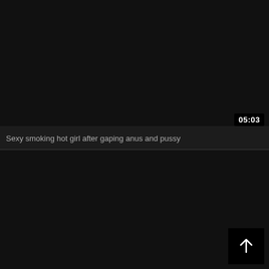[Figure (screenshot): Dark video thumbnail for top card]
05:03
Sexy smoking hot girl after gaping anus and pussy
[Figure (screenshot): Dark video thumbnail for bottom card]
[Figure (other): Scroll to top button with upward arrow]